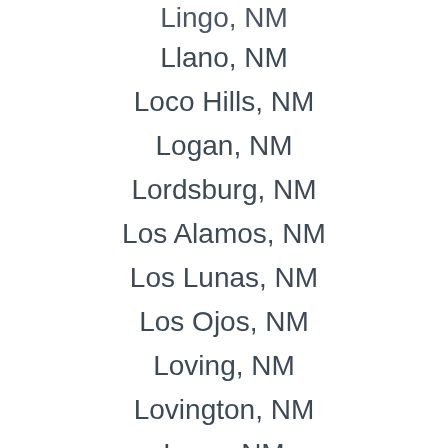Lingo, NM
Llano, NM
Loco Hills, NM
Logan, NM
Lordsburg, NM
Los Alamos, NM
Los Lunas, NM
Los Ojos, NM
Loving, NM
Lovington, NM
Luna, NM